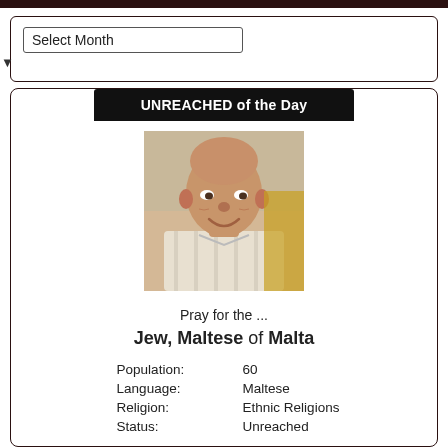[Figure (screenshot): Select Month dropdown widget at the top of the page]
[Figure (photo): Photograph of an elderly Maltese Jewish man smiling, balding, wearing an open-collar striped shirt]
UNREACHED of the Day
Pray for the ...
Jew, Maltese of Malta
| Population: | 60 |
| Language: | Maltese |
| Religion: | Ethnic Religions |
| Status: | Unreached |